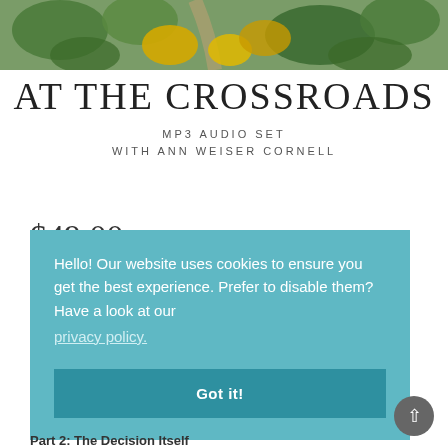[Figure (photo): Aerial view of trees and a road through autumn forest with yellow and green foliage]
AT THE CROSSROADS
MP3 AUDIO SET
WITH ANN WEISER CORNELL
$49.00
Hello! Our website uses cookies to ensure you get the best experience. Prefer to disable them? Have a look at our privacy policy.
Got it!
Part 2: The Decision Itself